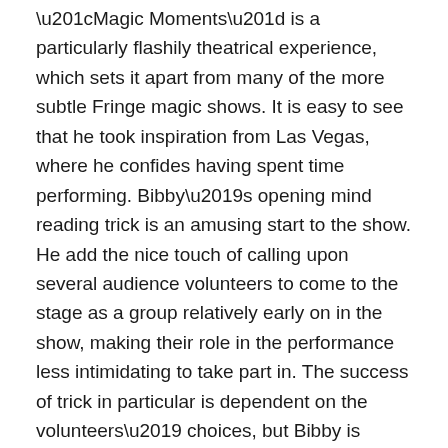“Magic Moments” is a particularly flashily theatrical experience, which sets it apart from many of the more subtle Fringe magic shows. It is easy to see that he took inspiration from Las Vegas, where he confides having spent time performing. Bibby’s opening mind reading trick is an amusing start to the show. He add the nice touch of calling upon several audience volunteers to come to the stage as a group relatively early on in the show, making their role in the performance less intimidating to take part in. The success of trick in particular is dependent on the volunteers’ choices, but Bibby is adept at using what is given to him to keep his audience entertained.
Bibby continues through a varied selection of card tricks. He frequently asks audience members to sign a card of their choosing, as insurance that he is not using any multi-deck trickery to make his magic tricks easier—a fairly